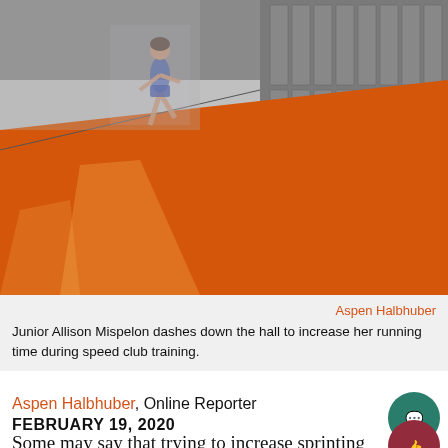[Figure (photo): A junior student named Allison Mispelon running down a school hallway with an orange floor and lockers along the right wall during speed club training.]
Aspen Halbhuber
Junior Allison Mispelon dashes down the hall to increase her running time during speed club training.
Aspen Halbhuber, Online Reporter
FEBRUARY 19, 2020
Some may say that trying to increase sprinting times is very hard to do. However, Speed Club h